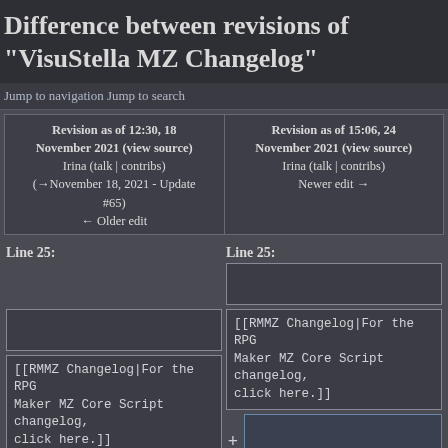Difference between revisions of "VisuStella MZ Changelog"
Jump to navigation Jump to search
| Revision as of 12:30, 18 November 2021 (view source)
Irina (talk | contribs)
(→November 18, 2021 - Update #65)
← Older edit | Revision as of 15:06, 24 November 2021 (view source)
Irina (talk | contribs)
Newer edit → |
| --- | --- |
Line 25:
Line 25:
[[RMMZ Changelog|For the RPG Maker MZ Core Script changelog, click here.]]
[[RMMZ Changelog|For the RPG Maker MZ Core Script changelog, click here.]]